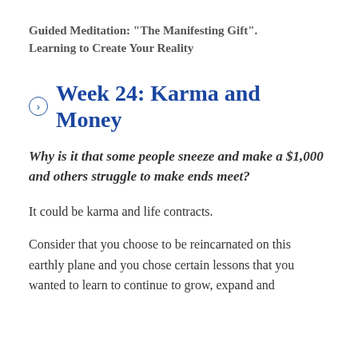Guided Meditation: "The Manifesting Gift".
Learning to Create Your Reality
Week 24: Karma and Money
Why is it that some people sneeze and make a $1,000 and others struggle to make ends meet?
It could be karma and life contracts.
Consider that you choose to be reincarnated on this earthly plane and you chose certain lessons that you wanted to learn to continue to grow, expand and